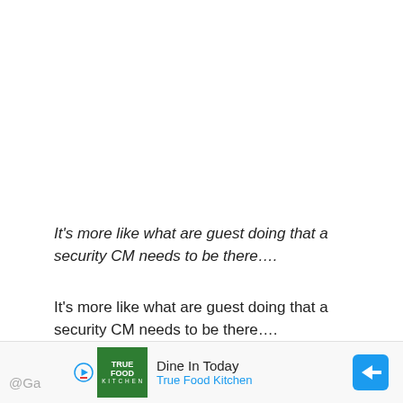It's more like what are guest doing that a security CM needs to be there….
It's more like what are guest doing that a security CM needs to be there….
— 🌸 t y n a 🌸 (@tynalyn1) May 21, 2022
[Figure (screenshot): Advertisement banner for True Food Kitchen: 'Dine In Today / True Food Kitchen' with green logo, play button, and blue navigation arrow on right.]